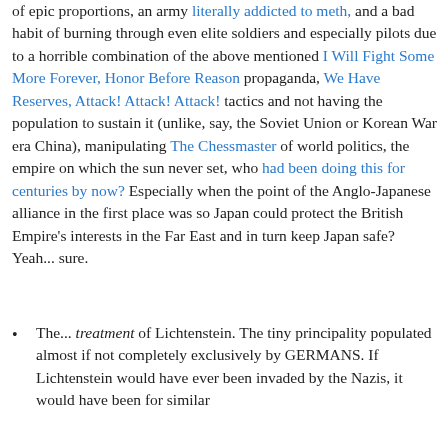of epic proportions, an army literally addicted to meth, and a bad habit of burning through even elite soldiers and especially pilots due to a horrible combination of the above mentioned I Will Fight Some More Forever, Honor Before Reason propaganda, We Have Reserves, Attack! Attack! Attack! tactics and not having the population to sustain it (unlike, say, the Soviet Union or Korean War era China), manipulating The Chessmaster of world politics, the empire on which the sun never set, who had been doing this for centuries by now? Especially when the point of the Anglo-Japanese alliance in the first place was so Japan could protect the British Empire's interests in the Far East and in turn keep Japan safe? Yeah... sure.
The... treatment of Lichtenstein. The tiny principality populated almost if not completely exclusively by GERMANS. If Lichtenstein would have ever been invaded by the Nazis, it would have been for similar